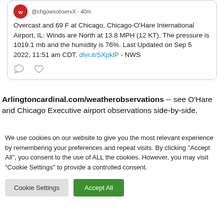[Figure (screenshot): Tweet card showing weather observation: Overcast and 69 F at Chicago, Chicago-O'Hare International Airport, IL: Winds are North at 13.8 MPH (12 KT). The pressure is 1019.1 mb and the humidity is 76%. Last Updated on Sep 5 2022, 11:51 am CDT. dlvr.it/SXpklP - NWS]
Arlingtoncardinal.com/weatherobservations -- see O'Hare and Chicago Executive airport observations side-by-side.
We use cookies on our website to give you the most relevant experience by remembering your preferences and repeat visits. By clicking "Accept All", you consent to the use of ALL the cookies. However, you may visit "Cookie Settings" to provide a controlled consent.